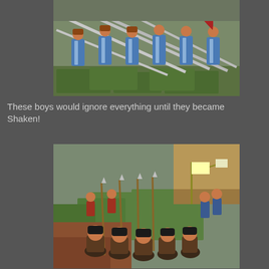[Figure (photo): Close-up photo of painted fantasy/historical miniature figures (dwarves) holding large two-handed swords, standing on green modeled grass bases arranged in formation.]
These boys would ignore everything until they became Shaken!
[Figure (photo): Aerial view of a tabletop wargame battle scene with painted miniature warriors holding spears and shields, some with flags/banners visible, on green tiles near a thatched-roof building.]